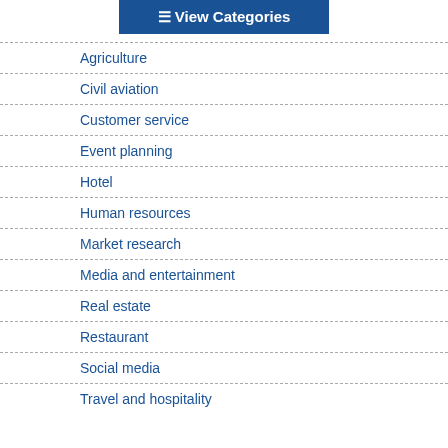≡ View Categories
Agriculture
Civil aviation
Customer service
Event planning
Hotel
Human resources
Market research
Media and entertainment
Real estate
Restaurant
Social media
Travel and hospitality